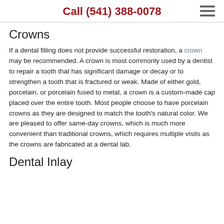Call (541) 388-0078
Crowns
If a dental filling does not provide successful restoration, a crown may be recommended. A crown is most commonly used by a dentist to repair a tooth that has significant damage or decay or to strengthen a tooth that is fractured or weak. Made of either gold, porcelain, or porcelain fused to metal, a crown is a custom-made cap placed over the entire tooth. Most people choose to have porcelain crowns as they are designed to match the tooth’s natural color. We are pleased to offer same-day crowns, which is much more convenient than traditional crowns, which requires multiple visits as the crowns are fabricated at a dental lab.
Dental Inlay